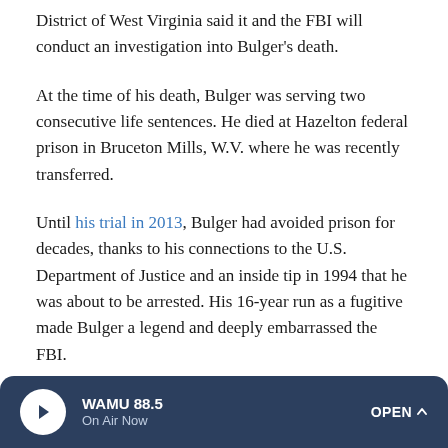District of West Virginia said it and the FBI will conduct an investigation into Bulger's death.
At the time of his death, Bulger was serving two consecutive life sentences. He died at Hazelton federal prison in Bruceton Mills, W.V. where he was recently transferred.
Until his trial in 2013, Bulger had avoided prison for decades, thanks to his connections to the U.S. Department of Justice and an inside tip in 1994 that he was about to be arrested. His 16-year run as a fugitive made Bulger a legend and deeply embarrassed the FBI.
He had become an old man by the time he was arrested in 2011.
WAMU 88.5 On Air Now OPEN